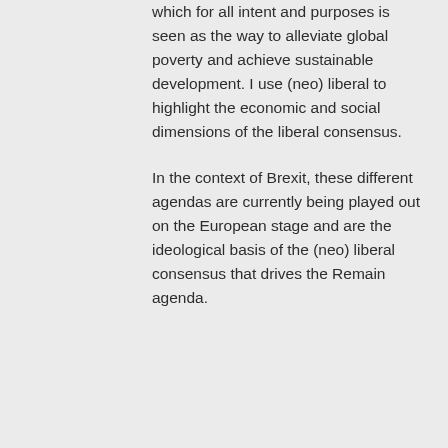which for all intent and purposes is seen as the way to alleviate global poverty and achieve sustainable development. I use (neo) liberal to highlight the economic and social dimensions of the liberal consensus.
In the context of Brexit, these different agendas are currently being played out on the European stage and are the ideological basis of the (neo) liberal consensus that drives the Remain agenda.